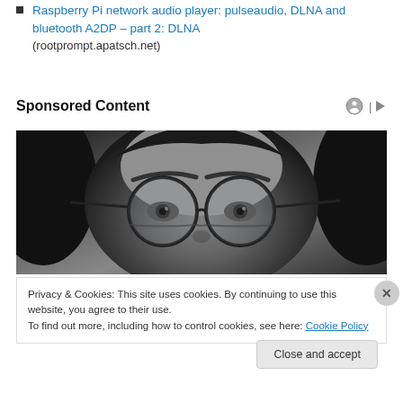Raspberry Pi network audio player: pulseaudio, DLNA and bluetooth A2DP – part 2: DLNA (rootprompt.apatsch.net)
Sponsored Content
[Figure (photo): Black and white close-up photo of a person's eyes and forehead wearing round wire-frame glasses]
Privacy & Cookies: This site uses cookies. By continuing to use this website, you agree to their use. To find out more, including how to control cookies, see here: Cookie Policy
Close and accept